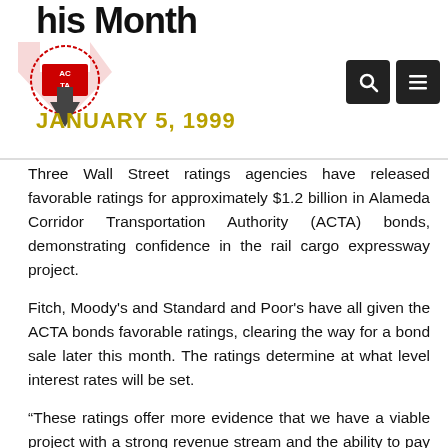This Month
JANUARY 5, 1999
Three Wall Street ratings agencies have released favorable ratings for approximately $1.2 billion in Alameda Corridor Transportation Authority (ACTA) bonds, demonstrating confidence in the rail cargo expressway project.
Fitch, Moody's and Standard and Poor's have all given the ACTA bonds favorable ratings, clearing the way for a bond sale later this month. The ratings determine at what level interest rates will be set.
“These ratings offer more evidence that we have a viable project with a strong revenue stream and the ability to pay our debts on time,” said Los Angeles City Councilman Rudy Svorinich, Jr., chairman of the ACTA Governing Board. “The ratings should lead to a very successful bond sale.” ACTA Chief Executive Officer Jim Hankla said, “We are pleased that these agencies have rated our bonds well above investment grade levels.”